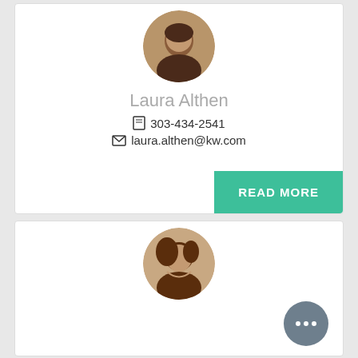[Figure (photo): Circular profile photo of Laura Althen, a woman with blonde hair wearing a dark top]
Laura Althen
303-434-2541
laura.althen@kw.com
READ MORE
[Figure (photo): Circular profile photo of a young woman with long brown hair, smiling]
[Figure (other): Chat bubble icon with three dots, indicating a messaging widget]